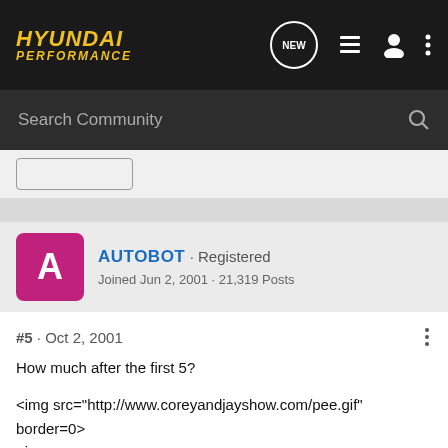HYUNDAI PERFORMANCE
Search Community
[Figure (screenshot): Outline button/UI element]
AUTOBOT · Registered
Joined Jun 2, 2001 · 21,319 Posts
#5 · Oct 2, 2001
How much after the first 5?

<img src="http://www.coreyandjayshow.com/pee.gif" border=0>
<img src="http://www.hyundaiperformance.com/upload/binladen.jpg" border=0>